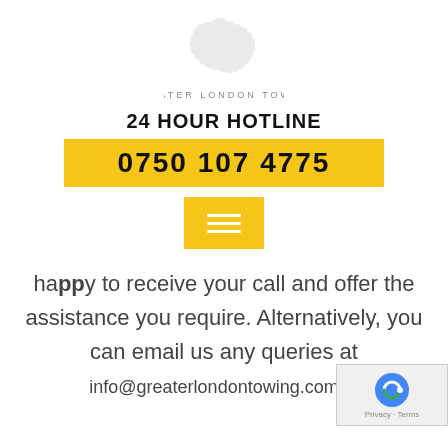[Figure (logo): Greater London map silhouette in light grey with company name GREATER LONDON TOWING below]
24 HOUR HOTLINE
0750 107 4775
[Figure (other): Yellow square button with three horizontal white lines (hamburger menu icon)]
happy to receive your call and offer the assistance you require. Alternatively, you can email us any queries at info@greaterlondontowing.com.to